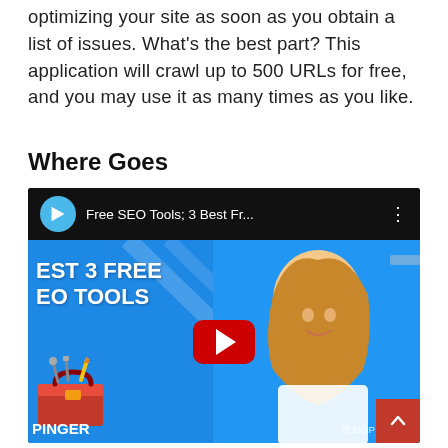optimizing your site as soon as you obtain a list of issues. What's the best part? This application will crawl up to 500 URLs for free, and you may use it as many times as you like.
Where Goes
[Figure (screenshot): Embedded YouTube video thumbnail showing 'Free SEO Tools; 3 Best Fr...' with a blue background, text reading 'BEST 3 FREE SEO TOOLS', a woman smiling, a toolbox illustration, YouTube play button, and Dopinger branding.]